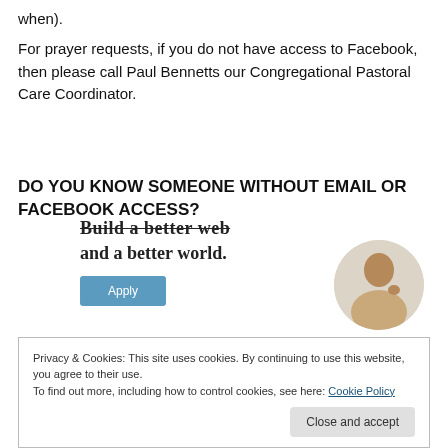when).
For prayer requests, if you do not have access to Facebook, then please call Paul Bennetts our Congregational Pastoral Care Coordinator.
DO YOU KNOW SOMEONE WITHOUT EMAIL OR FACEBOOK ACCESS?
[Figure (screenshot): Partial web advertisement showing 'Build a better web and a better world.' with an Apply button and a circular photo of a man thinking.]
Privacy & Cookies: This site uses cookies. By continuing to use this website, you agree to their use.
To find out more, including how to control cookies, see here: Cookie Policy
Close and accept